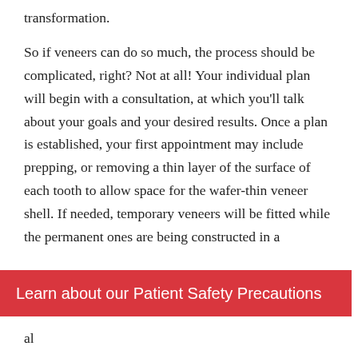transformation.

So if veneers can do so much, the process should be complicated, right? Not at all!  Your individual plan will begin with a consultation, at which you'll talk about your goals and your desired results. Once a plan is established, your first appointment may include prepping, or removing a thin layer of the surface of each tooth to allow space for the wafer-thin veneer shell. If needed, temporary veneers will be fitted while the permanent ones are being constructed in a
Learn about our Patient Safety Precautions
al